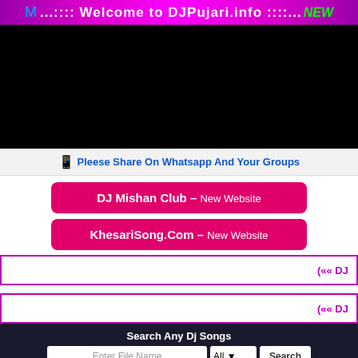...:::: Welcome to DJPujari.info ::::... NEW
[Figure (screenshot): Black video player area]
Please Share On Whatsapp And Your Groups
DJ Mishan Club — New Website
KhesariSong.Com — New Website
(«« DJ
(«« DJ
Search Any Dj Songs
Enter File Name  All  Search
A Raja Humke Banaras Ghuma Da Bhojpuri Dj Song 2022 Dj Sunil SNK